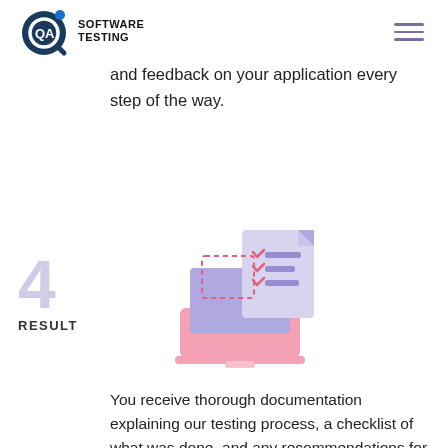QA SOFTWARE TESTING
and feedback on your application every step of the way.
[Figure (illustration): Illustration of a laptop with a checklist document floating above it, in pink and purple/lavender colors. The document has checkmarks and lines representing a checklist. A dashed rectangle represents a selection or crop area.]
4 RESULT
You receive thorough documentation explaining our testing process, a checklist of what was done, and any recommendations for improvement to make your application the best it can be.